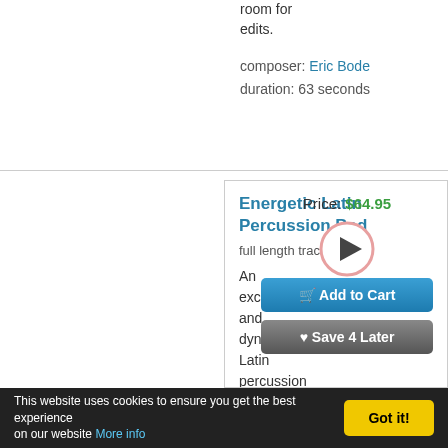room for edits.
composer: Eric Bode
duration: 63 seconds
Energetic Latin Percussion Bed
Price: $64.95
[Figure (other): Play button circle icon with pink/red border]
full length track
Add to Cart
Save 4 Later
An exciting and dynamic Latin percussion track featuring agogos, congas, full drum kit and foot
This website uses cookies to ensure you get the best experience on our website More info